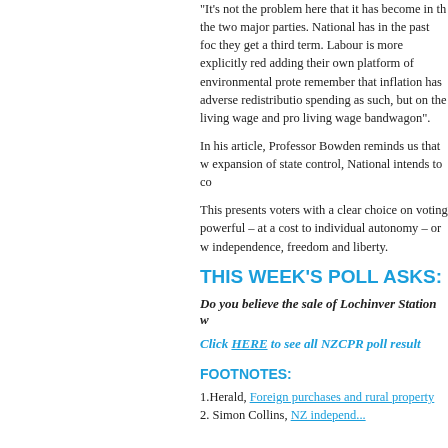“It’s not the problem here that it has become in the two major parties. National has in the past focused on they get a third term. Labour is more explicitly redistributing adding their own platform of environmental protection remember that inflation has adverse redistributional effects spending as such, but on the living wage and property living wage bandwagon”.
In his article, Professor Bowden reminds us that with expansion of state control, National intends to continue.
This presents voters with a clear choice on voting powerful – at a cost to individual autonomy – or independence, freedom and liberty.
THIS WEEK’S POLL ASKS:
Do you believe the sale of Lochinver Station w
Click HERE to see all NZCPR poll results
FOOTNOTES:
1. Herald, Foreign purchases and rural property
2. Simon Collins, NZ independent commentary